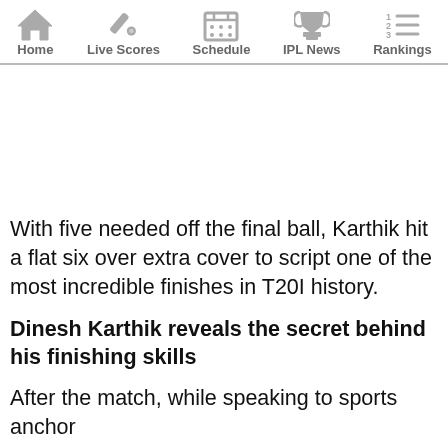Home | Live Scores | Schedule | IPL News | Rankings
[Figure (other): Advertisement/blank space area]
With five needed off the final ball, Karthik hit a flat six over extra cover to script one of the most incredible finishes in T20I history.
Dinesh Karthik reveals the secret behind his finishing skills
After the match, while speaking to sports anchor